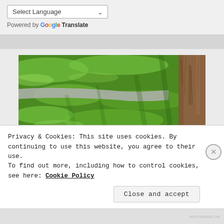Select Language
Powered by Google Translate
[Figure (photo): A green grassy lawn with dappled sunlight and shadows, a grey pathway/sidewalk cutting through, and a large tree trunk visible on the right side.]
Privacy & Cookies: This site uses cookies. By continuing to use this website, you agree to their use.
To find out more, including how to control cookies, see here: Cookie Policy
Close and accept